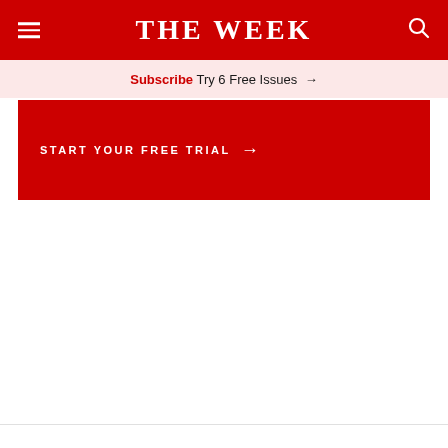THE WEEK
Subscribe Try 6 Free Issues →
START YOUR FREE TRIAL →